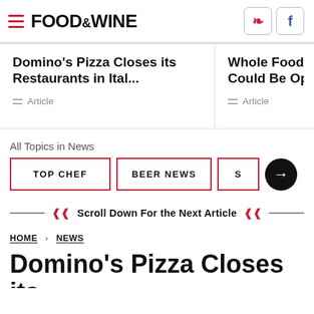FOOD&WINE
Domino's Pizza Closes its Restaurants in Ital...
Article
Whole Foods CE Could Be Openi
Article
All Topics in News
TOP CHEF
BEER NEWS
Scroll Down For the Next Article
HOME > NEWS
Domino's Pizza Closes its